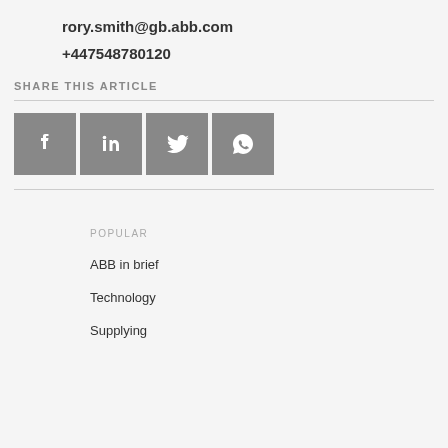rory.smith@gb.abb.com
+447548780120
SHARE THIS ARTICLE
[Figure (infographic): Four social media share icons: Facebook, LinkedIn, Twitter, WhatsApp — grey square buttons with white logos]
POPULAR
ABB in brief
Technology
Supplying